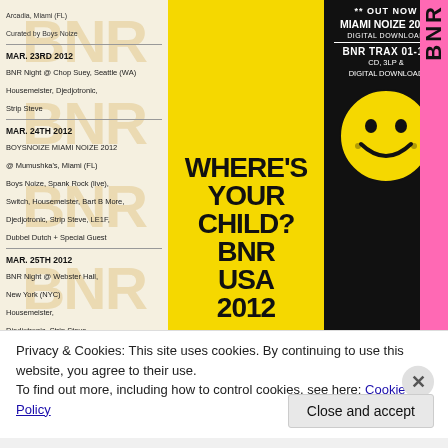Arcadia, Miami (FL) Curated by Boys Noize
MAR. 23RD 2012
BNR Night @ Chop Suey, Seattle (WA) Housemeister, Djedjotronic, Strip Steve
MAR. 24TH 2012
BOYSNOIZE MIAMI NOIZE 2012 @ Mumushka's, Miami (FL)
Boys Noize, Spank Rock (live), Switch, Housemeister, Bart B More, Djedjotronic, Strip Steve, LE1F, Dubbel Dutch + Special Guest
MAR. 25TH 2012
BNR Night @ Webster Hall, New York (NYC)
Housemeister, Djedjotronic, Strip Steve
MAR. 30TH 2012
BNR Night @ The Knitting Factory, Boise (ID) Housmeister, Djedjotronic, Strip Steve
MAR. 31ST 2012
Voyeur, Philadelphia (PA)
Djedjotronic, Strip Steve
APR. 5TH 2012
BNR Night @ Spy Bar, Chicago (IL)
D.I.M., Housemeister, Djedjotronic, Strip Steve
[Figure (illustration): Yellow and black concert poster reading WHERE'S YOUR CHILD? BNR USA 2012 with BNR watermark text repeated in background on left column]
** OUT NOW
MIAMI NOIZE 2012
DIGITAL DOWNLOAD
BNR TRAX 01-10
CD, 3LP &
DIGITAL DOWNLOAD
[Figure (illustration): Yellow smiley face on black background in right column]
Privacy & Cookies: This site uses cookies. By continuing to use this website, you agree to their use.
To find out more, including how to control cookies, see here: Cookie Policy
Close and accept